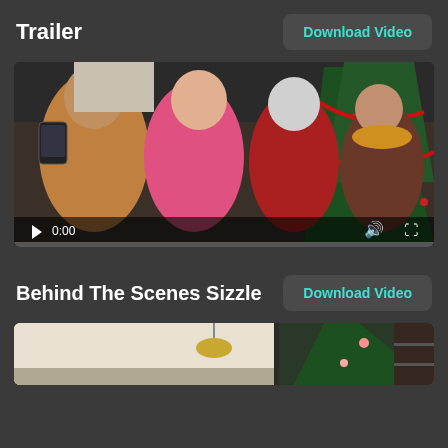Trailer
Download Video
[Figure (screenshot): Video player showing a Christmas movie trailer with four people taking a selfie in front of a Christmas tree. Controls show 0:00 timestamp with play, volume, and fullscreen buttons.]
Behind The Scenes Sizzle
Download Video
[Figure (screenshot): Bottom portion of a video thumbnail showing a behind the scenes clip with indoor setting.]